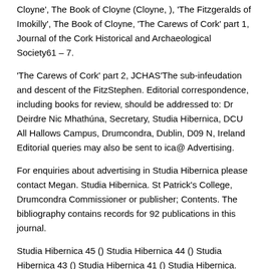Cloyne', The Book of Cloyne (Cloyne, ), 'The Fitzgeralds of Imokilly', The Book of Cloyne, 'The Carews of Cork' part 1, Journal of the Cork Historical and Archaeological Society61 – 7.
'The Carews of Cork' part 2, JCHAS'The sub-infeudation and descent of the FitzStephen. Editorial correspondence, including books for review, should be addressed to: Dr Deirdre Nic Mhathúna, Secretary, Studia Hibernica, DCU All Hallows Campus, Drumcondra, Dublin, D09 N, Ireland Editorial queries may also be sent to ica@ Advertising.
For enquiries about advertising in Studia Hibernica please contact Megan. Studia Hibernica. St Patrick's College, Drumcondra Commissioner or publisher; Contents. The bibliography contains records for 92 publications in this journal.
Studia Hibernica 45 () Studia Hibernica 44 () Studia Hibernica 43 () Studia Hibernica 41 () Studia Hibernica. Studia Hibernica. nos 4–5, – 5.
- Volume 16 Issue 63 - J.F. Lydon. We use cookies to distinguish you